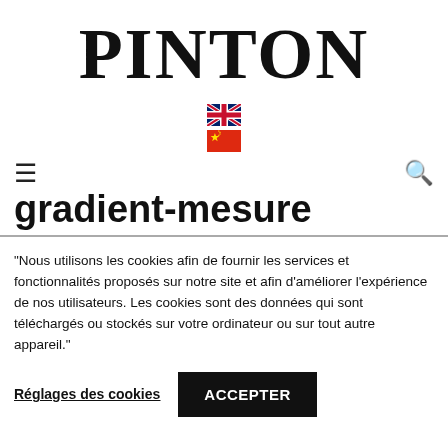PINTON
[Figure (illustration): UK flag emoji (Union Jack) and Chinese flag emoji, stacked vertically, centered]
≡   gradient-mesure   🔍
gradient-mesure
"Nous utilisons les cookies afin de fournir les services et fonctionnalités proposés sur notre site et afin d'améliorer l'expérience de nos utilisateurs. Les cookies sont des données qui sont téléchargés ou stockés sur votre ordinateur ou sur tout autre appareil."
Réglages des cookies  ACCEPTER